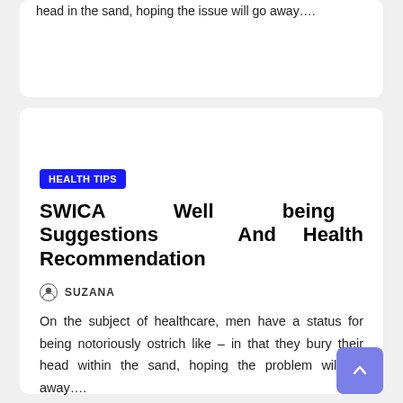head in the sand, hoping the issue will go away….
HEALTH TIPS
SWICA Well being Suggestions And Health Recommendation
SUZANA
On the subject of healthcare, men have a status for being notoriously ostrich like – in that they bury their head within the sand, hoping the problem will go away….